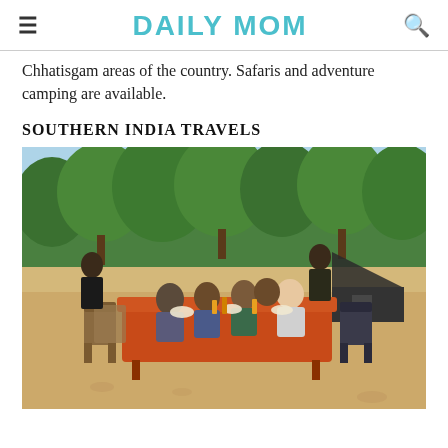DAILY MOM
Chhatisgam areas of the country. Safaris and adventure camping are available.
SOUTHERN INDIA TRAVELS
[Figure (photo): Group of tourists dining outdoors at a long table with an orange tablecloth set on a sandy riverbank, surrounded by trees and hills in the background. Staff serving the guests.]